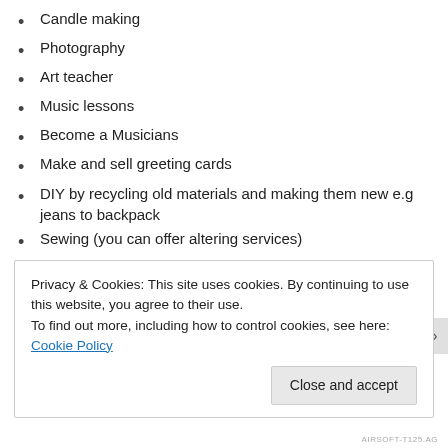Candle making
Photography
Art teacher
Music lessons
Become a Musicians
Make and sell greeting cards
DIY by recycling old materials and making them new e.g jeans to backpack
Sewing (you can offer altering services)
Bead work
DIY phone covers.
Privacy & Cookies: This site uses cookies. By continuing to use this website, you agree to their use.
To find out more, including how to control cookies, see here: Cookie Policy
AIRSOFT-T125.AG